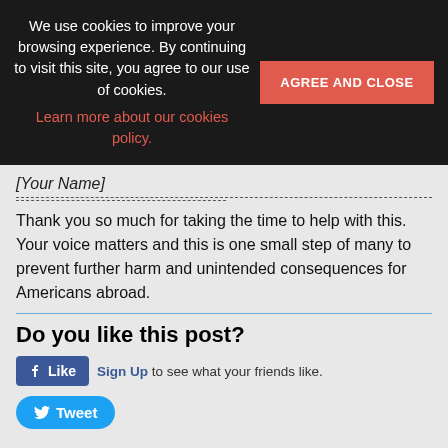We use cookies to improve your browsing experience. By continuing to visit this site, you agree to our use of cookies. Learn more about our cookies policy.
[Your Name]
Thank you so much for taking the time to help with this. Your voice matters and this is one small step of many to prevent further harm and unintended consequences for Americans abroad.
Do you like this post?
[Figure (screenshot): Facebook Like button with 'Sign Up to see what your friends like.' text]
[Figure (screenshot): Twitter Tweet button]